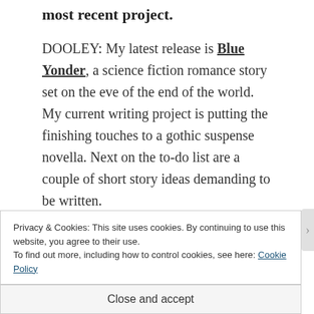most recent project.
DOOLEY: My latest release is Blue Yonder, a science fiction romance story set on the eve of the end of the world. My current writing project is putting the finishing touches to a gothic suspense novella. Next on the to-do list are a couple of short story ideas demanding to be written.
Privacy & Cookies: This site uses cookies. By continuing to use this website, you agree to their use.
To find out more, including how to control cookies, see here: Cookie Policy
Close and accept